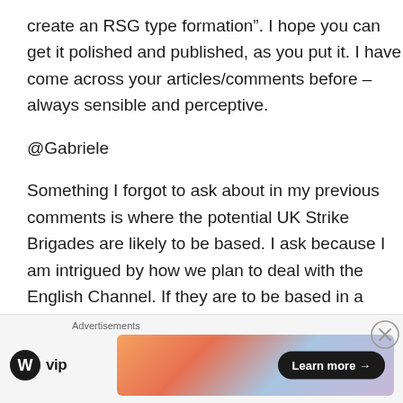create an RSG type formation”. I hope you can get it polished and published, as you put it. I have come across your articles/comments before – always sensible and perceptive.
@Gabriele
Something I forgot to ask about in my previous comments is where the potential UK Strike Brigades are likely to be based. I ask because I am intrigued by how we plan to deal with the English Channel. If they are to be based in a “forward” position, somewhere on the
Advertisements
[Figure (logo): WordPress VIP logo with WP icon and 'vip' text]
[Figure (infographic): Advertisement banner with gradient background (orange to blue/purple) and a 'Learn more →' button in dark pill shape]